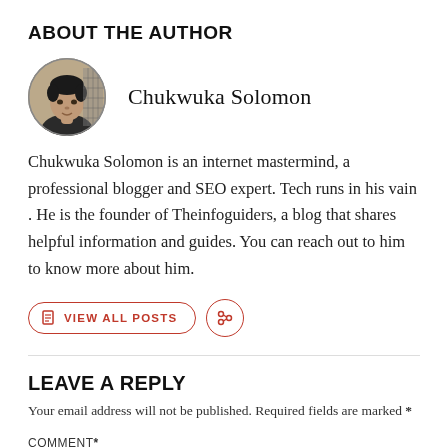ABOUT THE AUTHOR
[Figure (photo): Circular avatar photo of Chukwuka Solomon, a young man in a dark shirt, black and white/sepia tone]
Chukwuka Solomon
Chukwuka Solomon is an internet mastermind, a professional blogger and SEO expert. Tech runs in his vain . He is the founder of Theinfoguiders, a blog that shares helpful information and guides. You can reach out to him to know more about him.
VIEW ALL POSTS
LEAVE A REPLY
Your email address will not be published. Required fields are marked *
COMMENT *